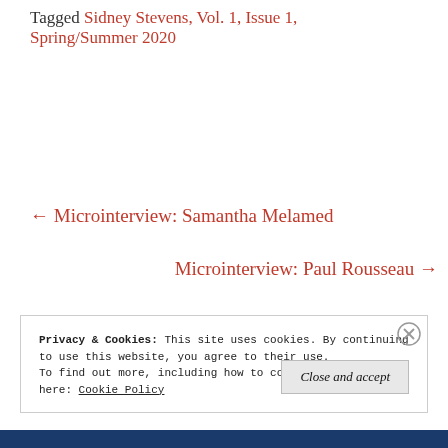Tagged Sidney Stevens, Vol. 1, Issue 1, Spring/Summer 2020
← Microinterview: Samantha Melamed
Microinterview: Paul Rousseau →
Privacy & Cookies: This site uses cookies. By continuing to use this website, you agree to their use.
To find out more, including how to control cookies, see here: Cookie Policy
Close and accept